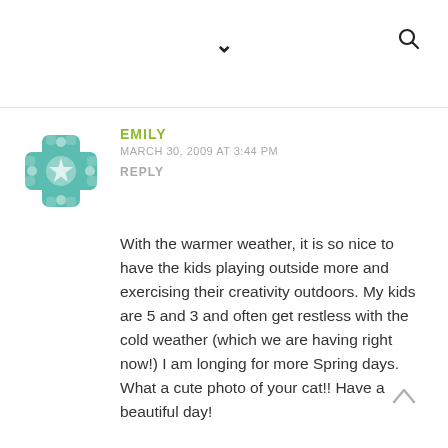▾  🔍
[Figure (illustration): Teal/turquoise decorative geometric avatar icon with floral/star pattern]
EMILY
MARCH 30, 2009 AT 3:44 PM
REPLY
With the warmer weather, it is so nice to have the kids playing outside more and exercising their creativity outdoors. My kids are 5 and 3 and often get restless with the cold weather (which we are having right now!) I am longing for more Spring days. What a cute photo of your cat!! Have a beautiful day!